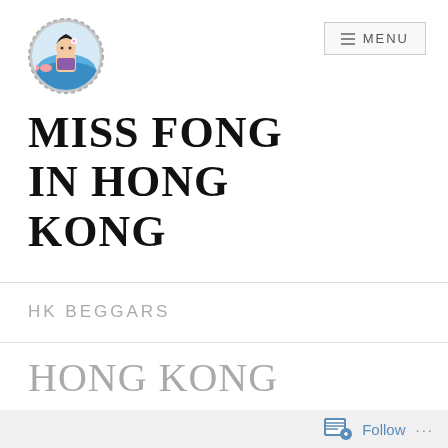[Figure (logo): Circular bottle-cap style logo with cartoon character girl in blue/water scene]
MISS FONG IN HONG KONG
HK BEGGARS
HONG KONG BEGGARS: TIN HAU
Follow ...